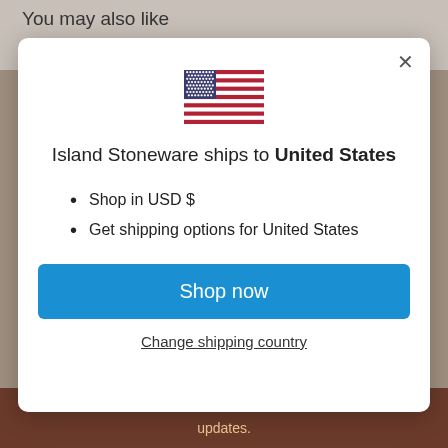You may also like
[Figure (illustration): US flag emoji illustration]
Island Stoneware ships to United States
Shop in USD $
Get shipping options for United States
Shop now
Change shipping country
updates.